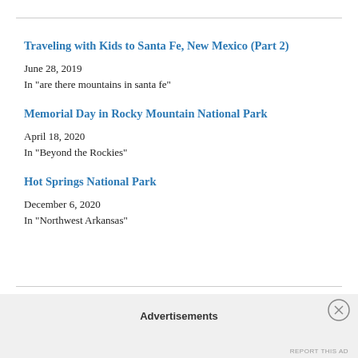Traveling with Kids to Santa Fe, New Mexico (Part 2)
June 28, 2019
In "are there mountains in santa fe"
Memorial Day in Rocky Mountain National Park
April 18, 2020
In "Beyond the Rockies"
Hot Springs National Park
December 6, 2020
In "Northwest Arkansas"
Advertisements